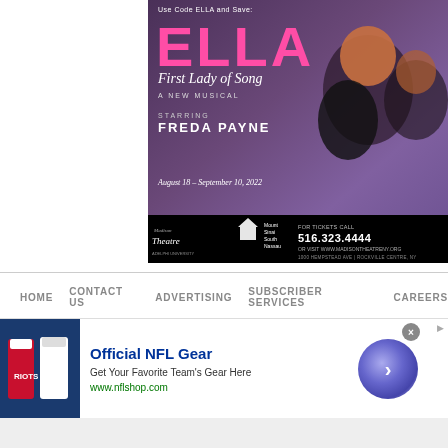[Figure (illustration): Theater advertisement for 'ELLA – First Lady of Song', a new musical starring Freda Payne. Purple background with two women. Text: 'Use Code ELLA and Save!', 'ELLA First Lady of Song', 'A New Musical', 'Starring Freda Payne', 'August 18 – September 10, 2022'. Bottom bar: Madison Theatre logo, Mount Sinai South Nassau logo, 'FOR TICKETS CALL 516.323.4444 OR VISIT WWW.MADISONTHEATRENY.ORG', '1000 HEMPSTEAD AVE | ROCKVILLE CENTRE, NY']
[Figure (other): Navigation bar with links: HOME, CONTACT US, ADVERTISING, SUBSCRIBER SERVICES, CAREERS]
[Figure (other): NFL Shop advertisement banner: image of NFL jerseys on left, 'Official NFL Gear', 'Get Your Favorite Team's Gear Here', 'www.nflshop.com', purple arrow circle button, close X button]